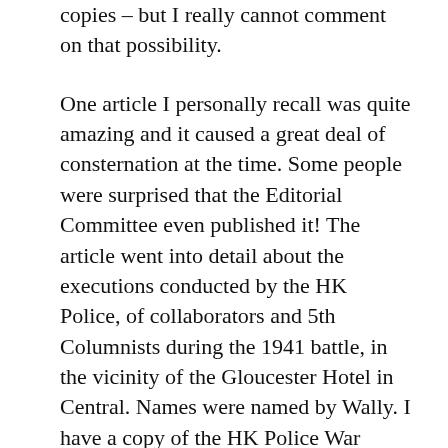copies – but I really cannot comment on that possibility.
One article I personally recall was quite amazing and it caused a great deal of consternation at the time. Some people were surprised that the Editorial Committee even published it! The article went into detail about the executions conducted by the HK Police, of collaborators and 5th Columnists during the 1941 battle, in the vicinity of the Gloucester Hotel in Central. Names were named by Wally. I have a copy of the HK Police War Diary 8 – 25 Dec 1941 and reference is made to these executions in the Diary as “drastic action” having been taken.
Following publication of the article a letter appeared in the following edition of Off Beat, in which a senior expat officer expressed his